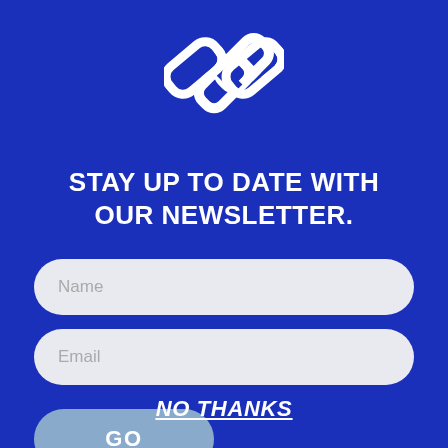[Figure (logo): Interlocking chain link logo in white on blue background]
STAY UP TO DATE WITH OUR NEWSLETTER.
Name
Email
GO
NO THANKS